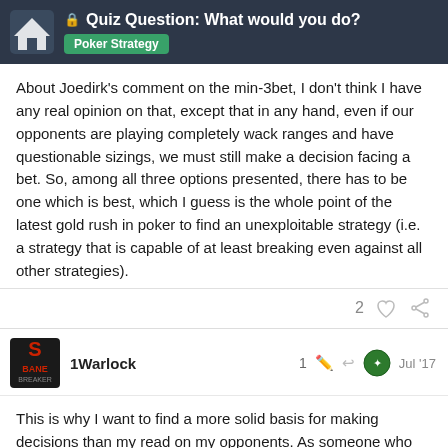Quiz Question: What would you do? — Poker Strategy
About Joedirk's comment on the min-3bet, I don't think I have any real opinion on that, except that in any hand, even if our opponents are playing completely wack ranges and have questionable sizings, we must still make a decision facing a bet. So, among all three options presented, there has to be one which is best, which I guess is the whole point of the latest gold rush in poker to find an unexploitable strategy (i.e. a strategy that is capable of at least breaking even against all other strategies).
1Warlock — 1 — Jul '17
This is why I want to find a more solid basis for making decisions than my read on my opponents. As someone who does not always get quick or correct reads may, I want something to guide my decisio...
12 / 36